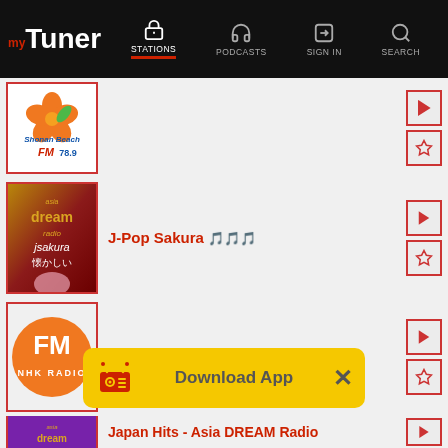myTuner — STATIONS | PODCASTS | SIGN IN | SEARCH
[Figure (screenshot): Shonan Beach FM 78.9 radio station logo — orange hibiscus flower above blue cursive text on white background]
[Figure (screenshot): Asia Dream Radio J-Pop Sakura station logo — dark red/maroon background with gold text 'asia dream radio jsakura 懐かしい' and pink blob]
J-Pop Sakura 🎵🎵🎵
[Figure (screenshot): NHK FM Radio logo — orange circle with white FM text and NHK RADIO text below]
NHK FM
[Figure (screenshot): Download App banner — yellow background with radio icon, 'Download App' text and X close button]
Japan Hits - Asia DREAM Radio
[Figure (screenshot): Asia Dream Radio partial logo at bottom — purple background partially visible]